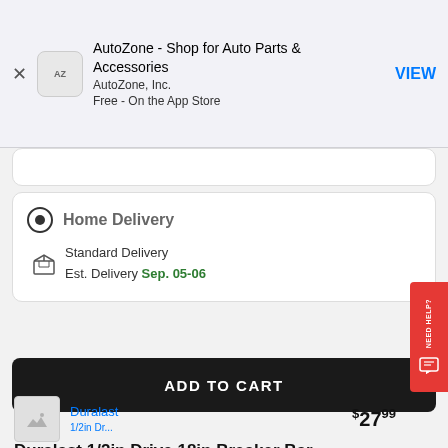AutoZone - Shop for Auto Parts & Accessories
AutoZone, Inc.
Free - On the App Store
Home Delivery
Standard Delivery
Est. Delivery Sep. 05-06
ADD TO CART
Duralast 1/2in Drive 18in Breaker Bar
Duralast
$27.99